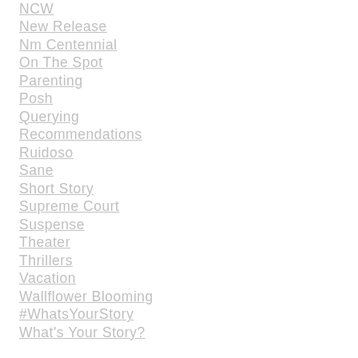NCW
New Release
Nm Centennial
On The Spot
Parenting
Posh
Querying
Recommendations
Ruidoso
Sane
Short Story
Supreme Court
Suspense
Theater
Thrillers
Vacation
Wallflower Blooming
#WhatsYourStory
What's Your Story?